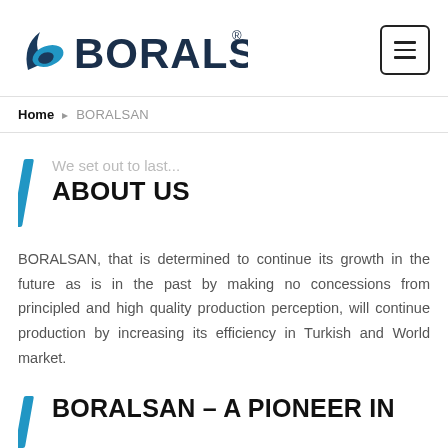[Figure (logo): BORALSAN logo with blue swoosh/leaf graphic to the left of the text]
Home > BORALSAN
We set out to last... ABOUT US
BORALSAN, that is determined to continue its growth in the future as is in the past by making no concessions from principled and high quality production perception, will continue production by increasing its efficiency in Turkish and World market.
BORALSAN – A PIONEER IN